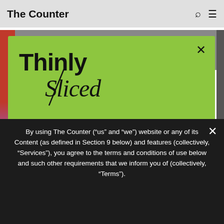The Counter
[Figure (screenshot): Modal popup on The Counter website showing 'Thinly Sliced' newsletter signup with green background, over a partially visible webpage with colored photo strips]
Thinly Sliced
Get your twice-weekly fix of features, commentary, and insight from the frontlines of American food.
Email   Zip Code
By using The Counter (“us” and “we”) website or any of its Content (as defined in Section 9 below) and features (collectively, “Services”), you agree to the terms and conditions of use below and such other requirements that we inform you of (collectively, “Terms”).